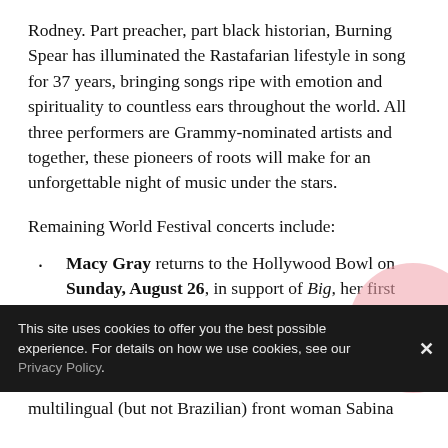Rodney. Part preacher, part black historian, Burning Spear has illuminated the Rastafarian lifestyle in song for 37 years, bringing songs ripe with emotion and spirituality to countless ears throughout the world. All three performers are Grammy-nominated artists and together, these pioneers of roots will make for an unforgettable night of music under the stars.
Remaining World Festival concerts include:
Macy Gray returns to the Hollywood Bowl on Sunday, August 26, in support of Big, her first release in nearly four years. Zap Mama, whose acclaimed signature sound blends soul, gospel, pygmy song and Afro-Cuban rhythms, also performs for their only scheduled appearance in Southern California
This site uses cookies to offer you the best possible experience. For details on how we use cookies, see our Privacy Policy.
multilingual (but not Brazilian) front woman Sabina